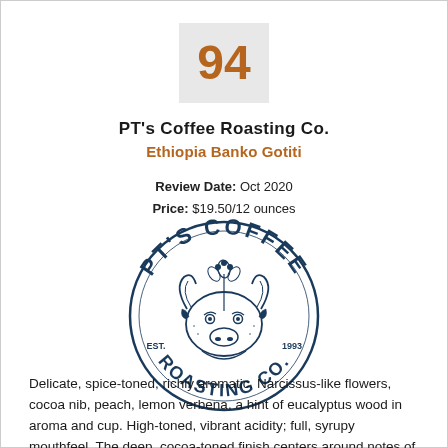[Figure (other): Score box showing the number 94 in large bold amber/brown font on a light gray background square]
PT's Coffee Roasting Co.
Ethiopia Banko Gotiti
Review Date: Oct 2020
Price: $19.50/12 ounces
[Figure (logo): PT's Coffee Roasting Co. circular logo in dark navy blue, featuring a bison/buffalo face in the center surrounded by text reading PT'S COFFEE ROASTING CO. EST. 1993 with decorative coffee plant elements at top]
Delicate, spice-toned, richly aromatic. Narcissus-like flowers, cocoa nib, peach, lemon verbena, a hint of eucalyptus wood in aroma and cup. High-toned, vibrant acidity; full, syrupy mouthfeel. The deep, cocoa-toned finish centers around notes of